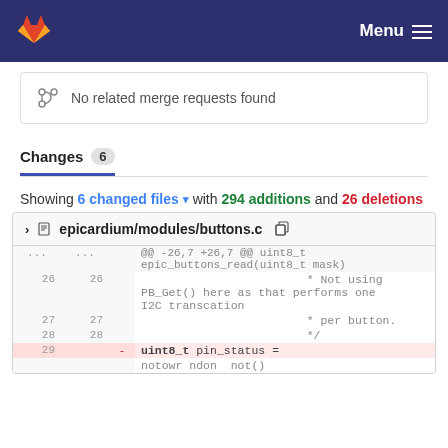Menu
No related merge requests found
Changes 6
Showing 6 changed files with 294 additions and 26 deletions
| old | new | op | code |
| --- | --- | --- | --- |
| ... | ... |  | @@ -26,7 +26,7 @@ uint8_t epic_buttons_read(uint8_t mask) |
| 26 | 26 |  | * Not using PB_Get() here as that performs one I2C transcation |
| 27 | 27 |  | * per button. |
| 28 | 28 |  | */ |
| 29 |  | - | uint8_t pin_status = |